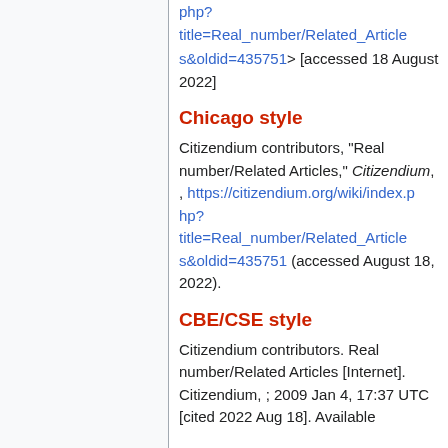php?title=Real_number/Related_Articles&oldid=435751> [accessed 18 August 2022]
Chicago style
Citizendium contributors, "Real number/Related Articles," Citizendium, , https://citizendium.org/wiki/index.php?title=Real_number/Related_Articles&oldid=435751 (accessed August 18, 2022).
CBE/CSE style
Citizendium contributors. Real number/Related Articles [Internet]. Citizendium, ; 2009 Jan 4, 17:37 UTC [cited 2022 Aug 18]. Available